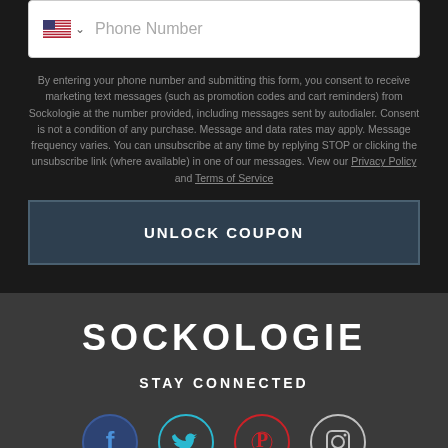[Figure (screenshot): Phone number input field with US flag icon and chevron dropdown, placeholder text 'Phone Number']
By entering your phone number and submitting this form, you consent to receive marketing text messages (such as promotion codes and cart reminders) from Sockologie at the number provided, including messages sent by autodialer. Consent is not a condition of any purchase. Message and data rates may apply. Message frequency varies. You can unsubscribe at any time by replying STOP or clicking the unsubscribe link (where available) in one of our messages. View our Privacy Policy and Terms of Service
UNLOCK COUPON
SOCKOLOGIE
STAY CONNECTED
[Figure (illustration): Four social media icons in circles: Facebook (dark blue), Twitter (teal), Pinterest (red), Instagram (light gray outline)]